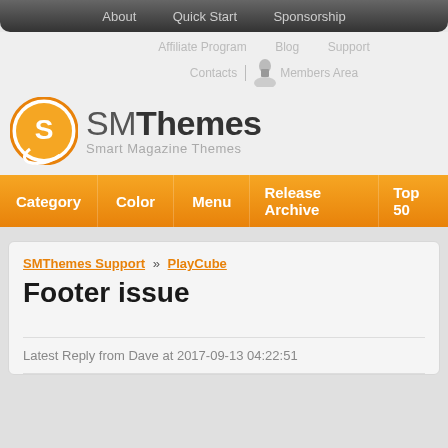About   Quick Start   Sponsorship
Affiliate Program   Blog   Support
Contacts | Members Area
[Figure (logo): SMThemes logo with orange speech bubble icon and text 'SMThemes Smart Magazine Themes']
Category   Color   Menu   Release Archive   Top 50
SMThemes Support » PlayCube
Footer issue
Latest Reply from Dave at 2017-09-13 04:22:51